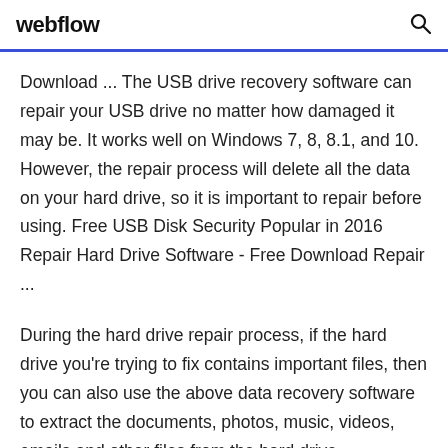webflow
Download ... The USB drive recovery software can repair your USB drive no matter how damaged it may be. It works well on Windows 7, 8, 8.1, and 10. However, the repair process will delete all the data on your hard drive, so it is important to repair before using. Free USB Disk Security Popular in 2016 Repair Hard Drive Software - Free Download Repair ...
During the hard drive repair process, if the hard drive you're trying to fix contains important files, then you can also use the above data recovery software to extract the documents, photos, music, videos, emails and other files from the hard drive ...